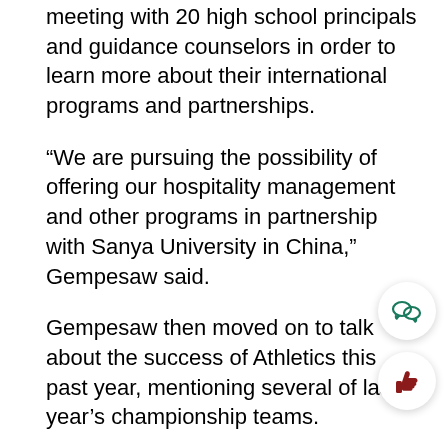meeting with 20 high school principals and guidance counselors in order to learn more about their international programs and partnerships.
“We are pursuing the possibility of offering our hospitality management and other programs in partnership with Sanya University in China,” Gempesaw said.
Gempesaw then moved on to talk about the success of Athletics this past year, mentioning several of last year’s championship teams.
Gempesaw also discussed how this past April, the Middle States Commission on Higher Education came to visit the University for the Accreditation Review.
“Our enrollment has fluctuated over time and budgets are tight, however, steps are being purs…